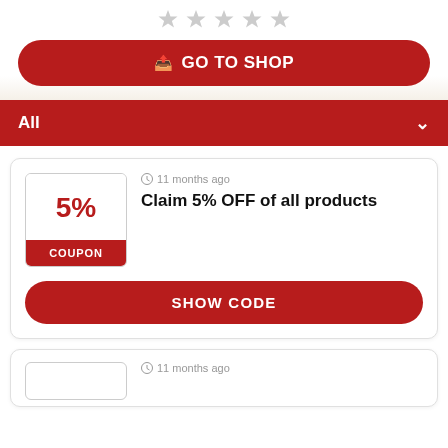[Figure (other): Five gray star rating icons in a row]
GO TO SHOP
All
11 months ago
Claim 5% OFF of all products
5%
COUPON
SHOW CODE
11 months ago